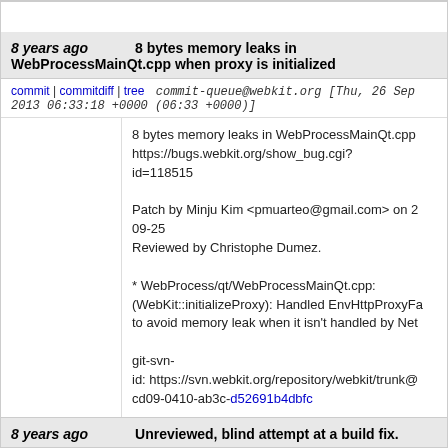8 years ago   8 bytes memory leaks in WebProcessMainQt.cpp when proxy is initialized
commit | commitdiff | tree   commit-queue@webkit.org [Thu, 26 Sep 2013 06:33:18 +0000 (06:33 +0000)]
8 bytes memory leaks in WebProcessMainQt.cpp https://bugs.webkit.org/show_bug.cgi?id=118515

Patch by Minju Kim <pmuarteo@gmail.com> on 2 09-25
Reviewed by Christophe Dumez.

* WebProcess/qt/WebProcessMainQt.cpp:
(WebKit::initializeProxy): Handled EnvHttpProxyFa to avoid memory leak when it isn't handled by Net

git-svn-id: https://svn.webkit.org/repository/webkit/trunk@ cd09-0410-ab3c-d52691b4dbfc
8 years ago   Unreviewed, blind attempt at a build fix.
commit | commitdiff | tree   beidson@apple.com [Thu, 26 Sep 2013 04:50:12 +0000 (04:50 +0000)]
Unreviewed, blind attempt at a build fix.